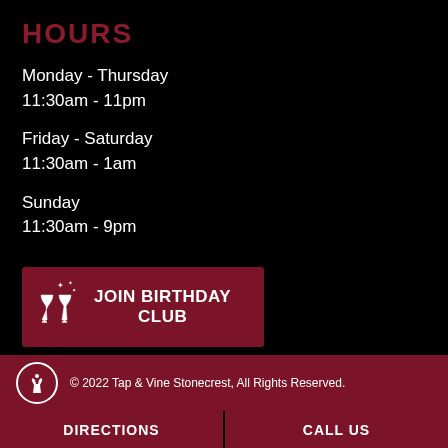HOURS
Monday - Thursday
11:30am - 11pm
Friday - Saturday
11:30am - 1am
Sunday
11:30am - 9pm
[Figure (other): JOIN BIRTHDAY CLUB button with wine glasses clinking icon on dark red background]
© 2022 Tap & Vine Stonecrest, All Rights Reserved.
DIRECTIONS   CALL US